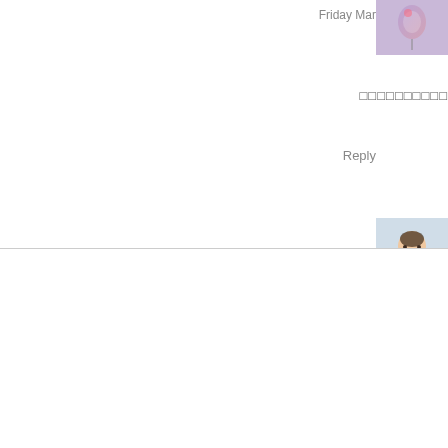[Figure (photo): Small thumbnail image in top right corner showing a pink/purple balloon illustration]
Friday Mar
□□□□□□□□□□
Reply
[Figure (photo): Small avatar photo of a woman with short hair, smiling, in a white top]
We use cookies on our website to give you the most relevant experience by remembering your preferences and repeat visits. By clicking "Accept All", you consent to the use of ALL the cookies. However, you may visit "Cookie Settings" to provide a controlled consent.
Cookie Settings
Accept All